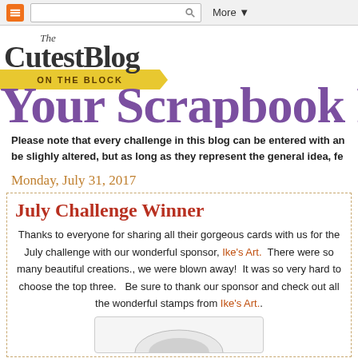Blogger navbar with search and More button
[Figure (logo): The Cutest Blog on the Block logo overlapping with blog title 'Your Scrapbook P...' in large purple serif font]
Please note that every challenge in this blog can be entered with an... be slighly altered, but as long as they represent the general idea, fe...
Monday, July 31, 2017
July Challenge Winner
Thanks to everyone for sharing all their gorgeous cards with us for the July challenge with our wonderful sponsor, Ike's Art.  There were so many beautiful creations., we were blown away!  It was so very hard to choose the top three.   Be sure to thank our sponsor and check out all the wonderful stamps from Ike's Art..
[Figure (photo): Partial image at bottom of post, appears to be a card or artwork, mostly cut off]